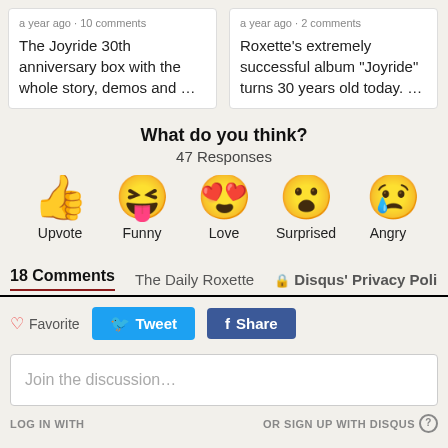a year ago • 10 comments
The Joyride 30th anniversary box with the whole story, demos and …
a year ago • 2 comments
Roxette's extremely successful album "Joyride" turns 30 years old today. …
What do you think?
47 Responses
[Figure (infographic): Five emoji reaction buttons: Upvote (thumbs up), Funny (laughing with tongue), Love (heart eyes), Surprised (surprised face), Angry (crying/sad face)]
18 Comments    The Daily Roxette    🔒 Disqus' Privacy Poli
♡ Favorite    Tweet    f Share
Join the discussion…
LOG IN WITH    OR SIGN UP WITH DISQUS ⓘ